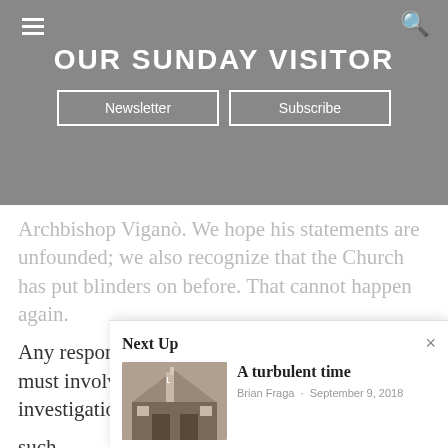OUR SUNDAY VISITOR
Archbishop Viganò. We hope his statements are unfounded; we also recognize that the Church has put blinders on before. That cannot happen again.
Any responsible response to the current crisis must involve thorough, detailed research and investigation. Several media outlets are pursuing such must Sund seek can
[Figure (screenshot): Next Up popup panel showing article 'A turbulent time' by Brian Fraga, September 9, 2018, with a church building thumbnail image]
A turbulent time
Brian Fraga · September 9, 2018